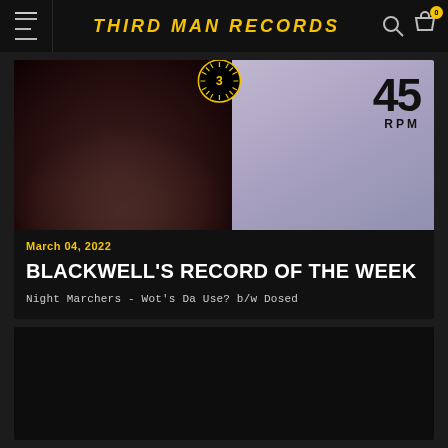THIRD MAN RECORDS
[Figure (photo): Record product image split: left side shows a dark photo of a person's lower face/chin, right side shows a record label with '45 RPM' text and Third Man Records badge overlay]
March 04, 2022
BLACKWELL'S RECORD OF THE WEEK
Night Marchers - Wot's Da Use? b/w Dosed
[Figure (photo): Partial second card visible at bottom of page, dark background]